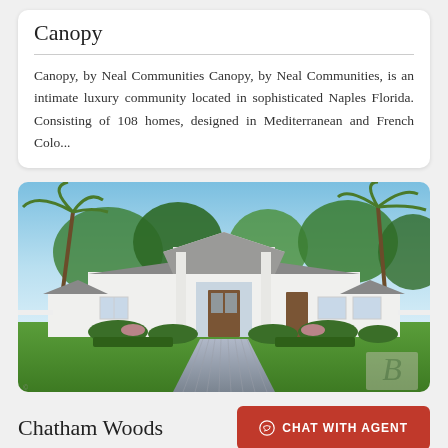Canopy
Canopy, by Neal Communities Canopy, by Neal Communities, is an intimate luxury community located in sophisticated Naples Florida. Consisting of 108 homes, designed in Mediterranean and French Colo...
[Figure (photo): Exterior rendering of a white Mediterranean-style luxury home with palm trees, green lawn, paved driveway, and a 'B' watermark logo in the bottom right corner.]
Chatham Woods
CHAT WITH AGENT